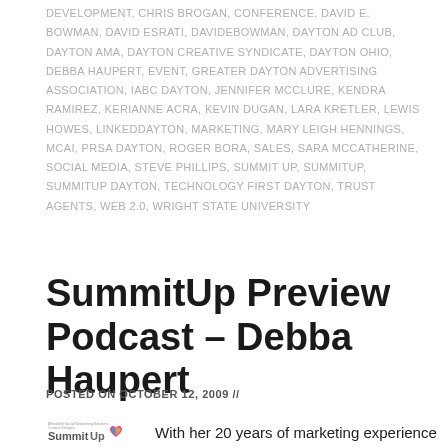DEVELOPMENT, CHRIS BROGAN, CONFERENCE, DAVID E. BOWMAN, DAVID ESRATI, DAVIDEBOWMAN, DAYTON AD CLUB, DAYTON AMA, DAYTON CREATIVE SYNDICATE, DAYTON OHIO, DEBBA HAUPERT, EVENT, GREATER DAYTON ADVERTISING ASSOCIATION, IABC DAYTON, JENNIFER MCCLURE, KENDRA RAMIREZ, KERIANNE ACRA, KEVIN DUGAN, LARA KRETLER, LEWIS HOWES, LINKEDDAYTON, MARKETING, MARY LEIGH HENNINGS, MCAI, PRSA DAYTON, ROGER BORA, SALES, SARA MCCATHERINE, SOCIAL MEDIA, STEVE PHILLIPS, SUMMIT UP, SUMMITUP, SUMMITUP DAYTON, TECHNOLOGY FIRST DAYTON, TRUST AGENTS, WEB 2.0, WRIGHT STATE UNIVERSITY
SummitUp Preview Podcast – Debba Haupert
POSTED ON OCTOBER 12, 2009 //
[Figure (logo): SummitUp logo with colorful heart shape]
With her 20 years of marketing experience